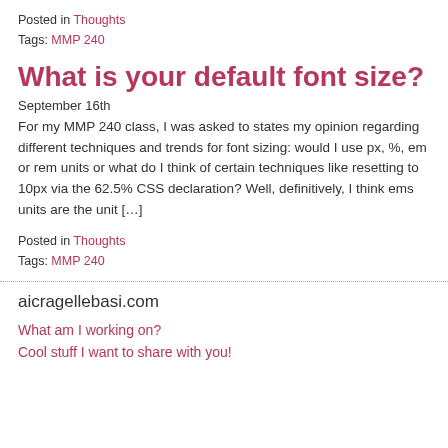Posted in Thoughts
Tags: MMP 240
What is your default font size?
September 16th
For my MMP 240 class, I was asked to states my opinion regarding different techniques and trends for font sizing: would I use px, %, em or rem units or what do I think of certain techniques like resetting to 10px via the 62.5% CSS declaration? Well, definitively, I think ems units are the unit […]
Posted in Thoughts
Tags: MMP 240
aicragellebasi.com
What am I working on?
Cool stuff I want to share with you!